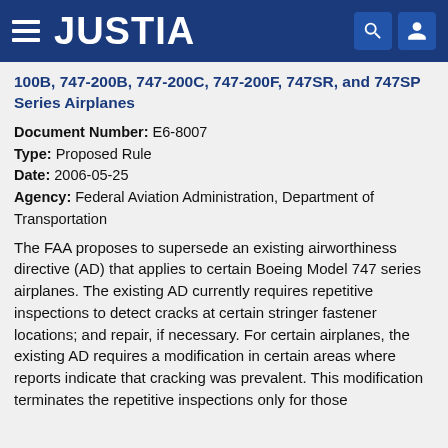JUSTIA
100B, 747-200B, 747-200C, 747-200F, 747SR, and 747SP Series Airplanes
Document Number: E6-8007
Type: Proposed Rule
Date: 2006-05-25
Agency: Federal Aviation Administration, Department of Transportation
The FAA proposes to supersede an existing airworthiness directive (AD) that applies to certain Boeing Model 747 series airplanes. The existing AD currently requires repetitive inspections to detect cracks at certain stringer fastener locations; and repair, if necessary. For certain airplanes, the existing AD requires a modification in certain areas where reports indicate that cracking was prevalent. This modification terminates the repetitive inspections only for those